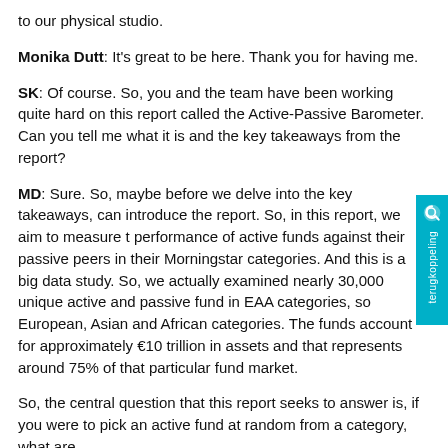to our physical studio.
Monika Dutt: It's great to be here. Thank you for having me.
SK: Of course. So, you and the team have been working quite hard on this report called the Active-Passive Barometer. Can you tell me what it is and the key takeaways from the report?
MD: Sure. So, maybe before we delve into the key takeaways, can introduce the report. So, in this report, we aim to measure the performance of active funds against their passive peers in their Morningstar categories. And this is a big data study. So, we actually examined nearly 30,000 unique active and passive funds in EAA categories, so European, Asian and African categories. The funds account for approximately €10 trillion in assets and that represents around 75% of that particular fund market.
So, the central question that this report seeks to answer is, if you were to pick an active fund at random from a category, what are